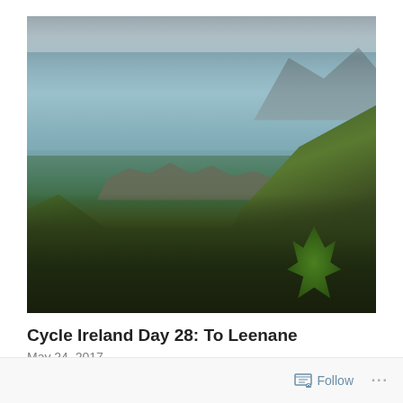[Figure (photo): Aerial view of rocky Irish coastline with green grassy cliffs in foreground, calm grey-blue sea water, rocky outcroppings, and dark cloudy overcast sky with mountains in the distance]
Cycle Ireland Day 28: To Leenane
May 24, 2017
Follow ···